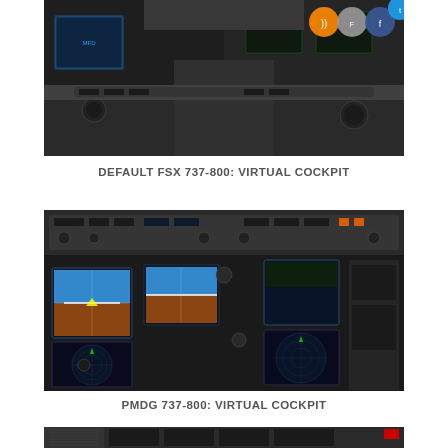[Figure (photo): Default FSX 737-800 virtual cockpit screenshot showing flight simulator cockpit panels and displays with social media icons overlay in top right corner.]
DEFAULT FSX 737-800: VIRTUAL COCKPIT
[Figure (photo): PMDG 737-800 virtual cockpit screenshot showing a detailed flight simulator cockpit with multiple avionics displays including PFD, MFD, navigation displays and overhead panels.]
PMDG 737-800: VIRTUAL COCKPIT
[Figure (photo): Partial view of another cockpit screenshot, cropped at the bottom of the page.]